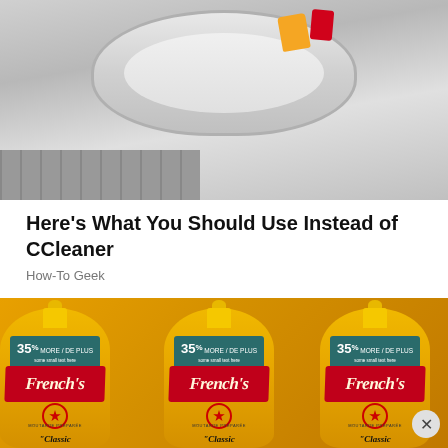[Figure (photo): Top portion of a bathroom sink or toilet bowl, gray/white porcelain, with small colorful toys visible, gray tile floor at bottom left]
Here's What You Should Use Instead of CCleaner
How-To Geek
[Figure (photo): Three yellow French's Classic Mustard squeeze bottles side by side on a shelf, each labeled '35% MORE / DE PLUS' on a teal band, with red banner showing French's brand name and maple leaf logo, 'MOUTARDE PRÉPARÉE Classic' at bottom]